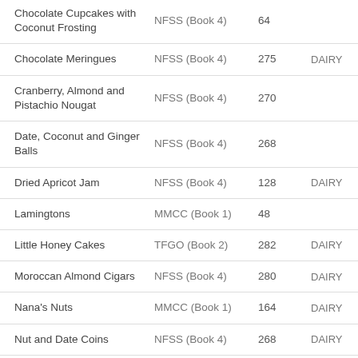|  |  |  |  |
| --- | --- | --- | --- |
| Chocolate Cupcakes with Coconut Frosting | NFSS (Book 4) | 64 |  |
| Chocolate Meringues | NFSS (Book 4) | 275 | DAIRY |
| Cranberry, Almond and Pistachio Nougat | NFSS (Book 4) | 270 |  |
| Date, Coconut and Ginger Balls | NFSS (Book 4) | 268 |  |
| Dried Apricot Jam | NFSS (Book 4) | 128 | DAIRY |
| Lamingtons | MMCC (Book 1) | 48 |  |
| Little Honey Cakes | TFGO (Book 2) | 282 | DAIRY |
| Moroccan Almond Cigars | NFSS (Book 4) | 280 | DAIRY |
| Nana's Nuts | MMCC (Book 1) | 164 | DAIRY |
| Nut and Date Coins | NFSS (Book 4) | 268 | DAIRY |